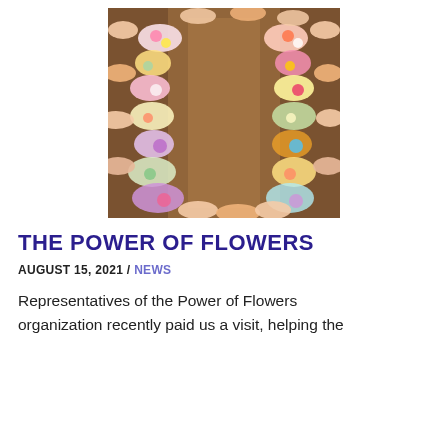[Figure (photo): Overhead view of people's hands arranging colorful flower garlands along both sides of a long wooden table.]
THE POWER OF FLOWERS
AUGUST 15, 2021 / NEWS
Representatives of the Power of Flowers organization recently paid us a visit, helping the